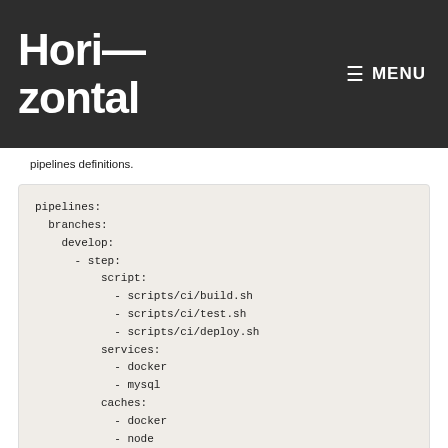Hori—
zontal
pipelines definitions.
pipelines:
  branches:
    develop:
      - step:
          script:
            - scripts/ci/build.sh
            - scripts/ci/test.sh
            - scripts/ci/deploy.sh
          services:
            - docker
            - mysql
          caches:
            - docker
            - node
            - composer
    test/*: